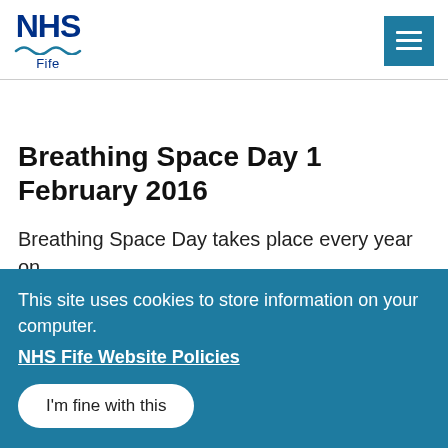[Figure (logo): NHS Fife logo with blue NHS text, wave underline, and 'Fife' label]
Breathing Space Day 1 February 2016
Breathing Space Day takes place every year on
This site uses cookies to store information on your computer.
NHS Fife Website Policies
I'm fine with this